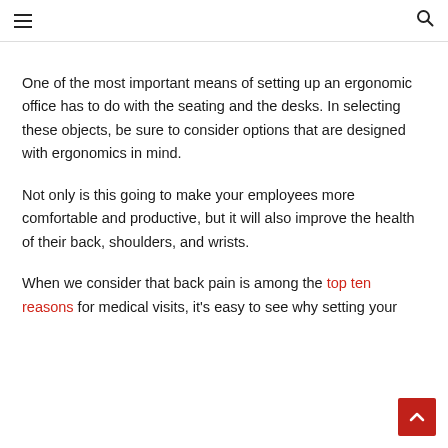≡  🔍
One of the most important means of setting up an ergonomic office has to do with the seating and the desks. In selecting these objects, be sure to consider options that are designed with ergonomics in mind.
Not only is this going to make your employees more comfortable and productive, but it will also improve the health of their back, shoulders, and wrists.
When we consider that back pain is among the top ten reasons for medical visits, it's easy to see why setting your